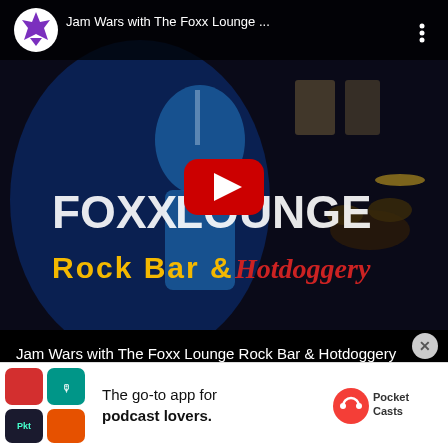[Figure (screenshot): YouTube video thumbnail showing a musician performing on stage at Foxx Lounge Rock Bar & Hotdoggery. The thumbnail has text overlays reading 'FOXX LOUNGE Rock Bar & Hotdoggery' in stylized fonts. A red YouTube play button is centered on the thumbnail. The video header shows a channel icon (purple maple leaf logo) and the title 'Jam Wars with The Foxx Lounge ...' with a three-dot menu icon.]
Jam Wars with The Foxx Lounge Rock Bar & Hotdoggery Preview THE FOXX & LIFTED PRESENTS JAM WARS
-SHOW UP -FILL OUT FORMS -PLAY 3 SONGS -RETURN
[Figure (screenshot): Advertisement banner for Pocket Casts app. Shows colorful app icon tiles on the left, text 'The go-to app for podcast lovers.' in the center, and the Pocket Casts logo (orange circle with headphone icon) and brand name on the right.]